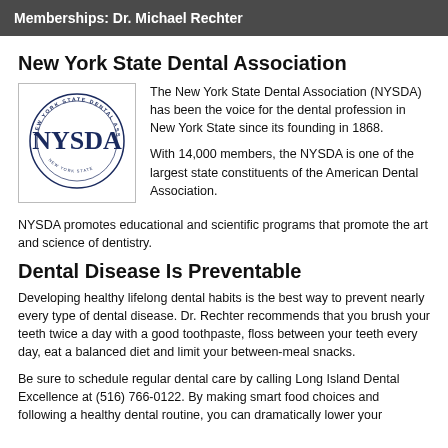Memberships: Dr. Michael Rechter
New York State Dental Association
[Figure (logo): NYSDA circular logo with text 'NEW YORK STATE DENTAL ASSOCIATION' around the border and 'NYSDA' in large serif letters in the center]
The New York State Dental Association (NYSDA) has been the voice for the dental profession in New York State since its founding in 1868.

With 14,000 members, the NYSDA is one of the largest state constituents of the American Dental Association.
NYSDA promotes educational and scientific programs that promote the art and science of dentistry.
Dental Disease Is Preventable
Developing healthy lifelong dental habits is the best way to prevent nearly every type of dental disease. Dr. Rechter recommends that you brush your teeth twice a day with a good toothpaste, floss between your teeth every day, eat a balanced diet and limit your between-meal snacks.
Be sure to schedule regular dental care by calling Long Island Dental Excellence at (516) 766-0122. By making smart food choices and following a healthy dental routine, you can dramatically lower your